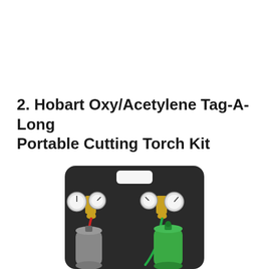2. Hobart Oxy/Acetylene Tag-A-Long Portable Cutting Torch Kit
[Figure (photo): Photo of a Hobart Oxy/Acetylene Tag-A-Long Portable Cutting Torch Kit showing a black portable carrier/cart with a handle cutout, two pressure regulators with gauges (one on each side), gold-colored brass fittings, a red hose and green hose, a gray acetylene cylinder on the left and a green oxygen cylinder on the right.]